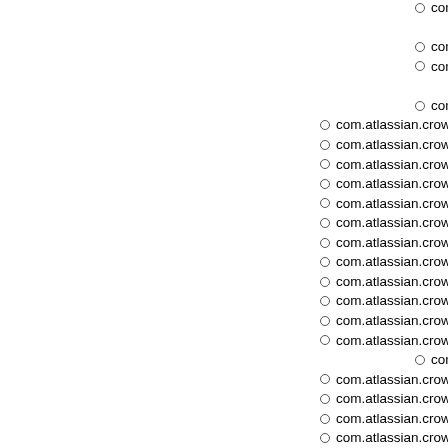com.atlassian.crowd.console.act
com.atlassian.crowd.conso
com.atlassian.crowd.console.act
com.atlassian.crowd.console.act
com.atlassian.crowd.conso
com.atlassian.crowd.console.act
com.atlassian.crowd.console.action.gr
com.atlassian.crowd.console.action.Li
com.atlassian.crowd.console.action.ac
com.atlassian.crowd.console.action.di
com.atlassian.crowd.console.action.gr
com.atlassian.crowd.console.action.pr
com.atlassian.crowd.console.action.ac
com.atlassian.crowd.plugin.saml.actio
com.atlassian.crowd.console.action.op
com.atlassian.crowd.plugins.testkit.ac
com.atlassian.crowd.console.action.op
com.atlassian.crowd.console.action.di
com.atlassian.crowd.console.act
com.atlassian.crowd.console.action.di
com.atlassian.crowd.console.action.op
com.atlassian.crowd.console.action.di
com.atlassian.crowd.console.action.op
com.atlassian.crowd.console.action.op
com.atlassian.crowd.console.action.op (implements com.opensymphony.xwork2.ModelDriv
com.atlassian.crowd.console.action.op
com.atlassian.crowd.console.action.di